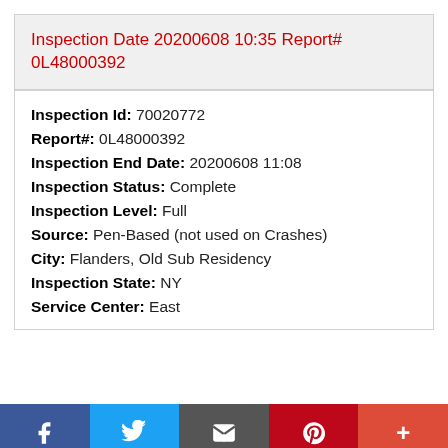Inspection Date 20200608 10:35 Report# 0L48000392
Inspection Id: 70020772
Report#: 0L48000392
Inspection End Date: 20200608 11:08
Inspection Status: Complete
Inspection Level: Full
Source: Pen-Based (not used on Crashes)
City: Flanders, Old Sub Residency
Inspection State: NY
Service Center: East